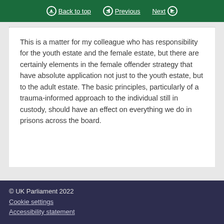Back to top | Previous | Next
This is a matter for my colleague who has responsibility for the youth estate and the female estate, but there are certainly elements in the female offender strategy that have absolute application not just to the youth estate, but to the adult estate. The basic principles, particularly of a trauma-informed approach to the individual still in custody, should have an effect on everything we do in prisons across the board.
© UK Parliament 2022
Cookie settings
Accessibility statement